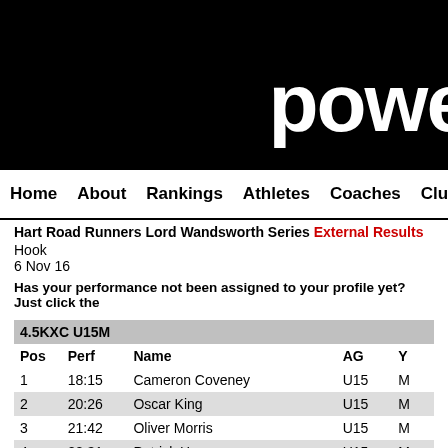[Figure (logo): Power of 10 website logo - partial text 'powe' visible in white on black background]
Home  About  Rankings  Athletes  Coaches  Clubs  Highlight
Hart Road Runners Lord Wandsworth Series External Results
Hook
6 Nov 16
Has your performance not been assigned to your profile yet? Just click the
| 4.5KXC U15M |  |  |  |  |
| --- | --- | --- | --- | --- |
| Pos | Perf | Name | AG | Y |
| 1 | 18:15 | Cameron Coveney | U15 | M |
| 2 | 20:26 | Oscar King | U15 | M |
| 3 | 21:42 | Oliver Morris | U15 | M |
| 4 | 22:31 | Patrick Hogan | U15 | M |
| 5 | 22:48 | Jamie Tulip | U15 | M |
| 6 | 26:26 | Alexander Thompson | U15 | M |
| 4.5KXC U15W |  |  |  |  |